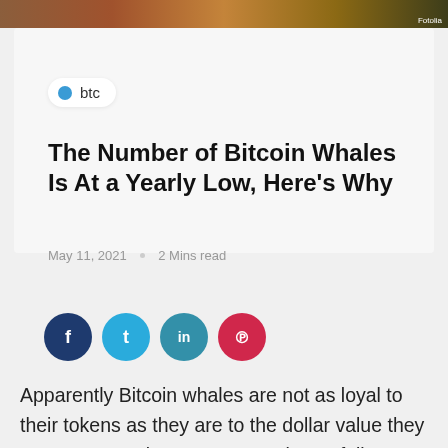[Figure (photo): Hero image of rocks/landscape with Fotolia watermark]
btc
The Number of Bitcoin Whales Is At a Yearly Low, Here's Why
May 11, 2021  ○  2 Mins read
[Figure (infographic): Social share buttons: Facebook, Twitter, LinkedIn, Pinterest]
Apparently Bitcoin whales are not as loyal to their tokens as they are to the dollar value they represent. As time goes on and BTC fails to resume its bull run, there are fewer and fewer people with large amounts of Bitcoin in their wallets.